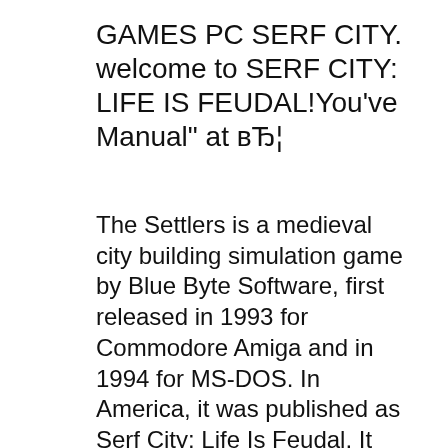GAMES PC SERF CITY. welcome to SERF CITY: LIFE IS FEUDAL!You've Manual" at вЂ¦
The Settlers is a medieval city building simulation game by Blue Byte Software, first released in 1993 for Commodore Amiga and in 1994 for MS-DOS. In America, it was published as Serf City: Life Is Feudal. It took over two years to code the game to understand supply and demand. The game is set in a cartoony version of medieval вЂ¦ The Settlers also known as Serf City: Life is Feudal is a game about settling land, and expanding through conquest. But the focus of the game is rather on the actual